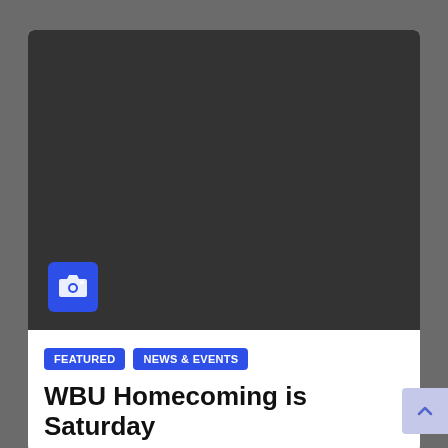[Figure (photo): Dark/black image placeholder with a blue camera badge icon in the lower left corner]
FEATURED   NEWS & EVENTS
WBU Homecoming is Saturday